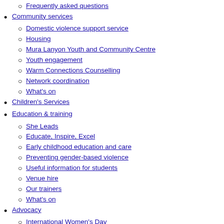Frequently asked questions
Community services
Domestic violence support service
Housing
Mura Lanyon Youth and Community Centre
Youth engagement
Warm Connections Counselling
Network coordination
What's on
Children's Services
Education & training
She Leads
Educate, Inspire, Excel
Early childhood education and care
Preventing gender-based violence
Useful information for students
Venue hire
Our trainers
What's on
Advocacy
International Women's Day
Towards 2024
Our lives: Women in the ACT
Hidden Women – Exploring older women's experiences of housing insecurity
Scholarships